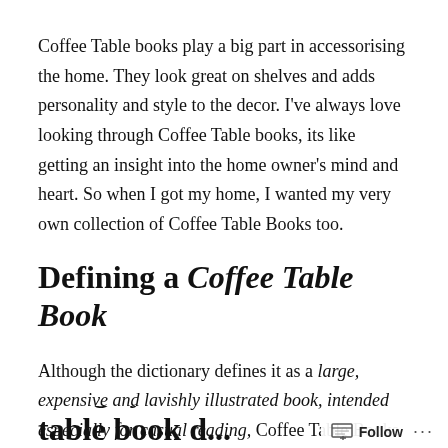Coffee Table books play a big part in accessorising the home. They look great on shelves and adds personality and style to the decor. I've always love looking through Coffee Table books, its like getting an insight into the home owner's mind and heart. So when I got my home, I wanted my very own collection of Coffee Table Books too.
Defining a Coffee Table Book
Although the dictionary defines it as a large, expensive and lavishly illustrated book, intended especially for casual reading, Coffee Table Books have evolved with long archives of information, beautiful photography and are often dictionaries of a subject in it's own right.
things you can coffee table book d...